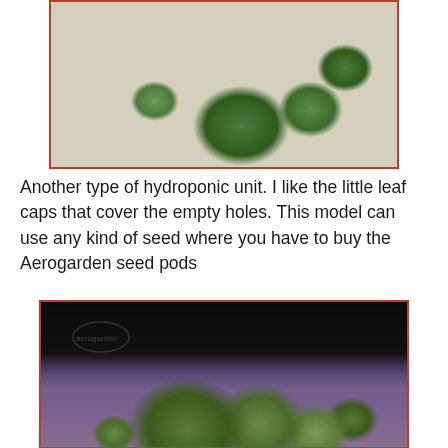[Figure (photo): Photo of a hydroponic unit showing seed pods on a dark tray with green leaf caps covering empty holes, some with small seedlings sprouting]
Another type of hydroponic unit. I like the little leaf caps that cover the empty holes. This model can use any kind of seed where you have to buy the Aerogarden seed pods
[Figure (photo): Photo of an Aerogarden hydroponic unit with plants growing under a lamp, showing leafy green plants growing in a purple/violet colored unit base]